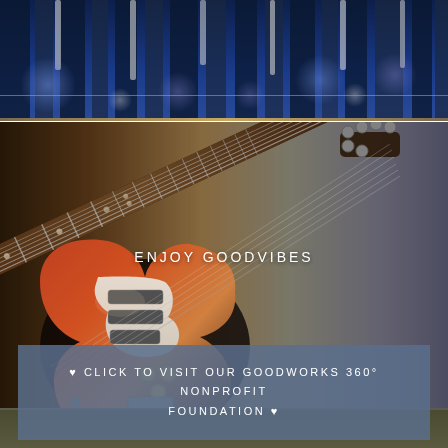[Figure (photo): Top band with blue stage lighting bokeh effect - blue lights on curtains background]
[Figure (photo): Electric guitar (sunburst Stratocaster-style) photographed diagonally against a dark moody background blending warm brown-orange on left to cool gray on right]
ENJOY GOODVIBES
[Figure (infographic): Call-to-action banner with blue-gray background containing text about GoodWorks 360 Nonprofit Foundation]
♥ CLICK TO VISIT OUR GOODWORKS 360° NONPROFIT FOUNDATION ♥